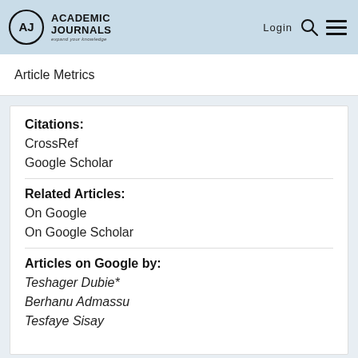Academic Journals — expand your knowledge | Login
Article Metrics
Citations:
CrossRef
Google Scholar
Related Articles:
On Google
On Google Scholar
Articles on Google by:
Teshager Dubie*
Berhanu Admassu
Tesfaye Sisay